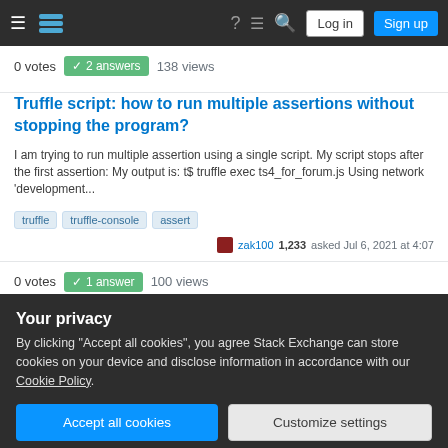Stack Exchange navigation bar with Log in and Sign up buttons
0 votes  2 answers  138 views
Truffle script: how to run multiple assertions without stopping the program?
I am trying to run multiple assertion using a single script. My script stops after the first assertion: My output is: t$ truffle exec ts4_for_forum.js Using network 'development...
truffle  truffle-console  assert
zak100 1,233  asked Jul 6, 2021 at 4:07
0 votes  1 answer  100 views
address payable[] public causing SWC 110 and exception
Your privacy
By clicking "Accept all cookies", you agree Stack Exchange can store cookies on your device and disclose information in accordance with our Cookie Policy.
Accept all cookies   Customize settings